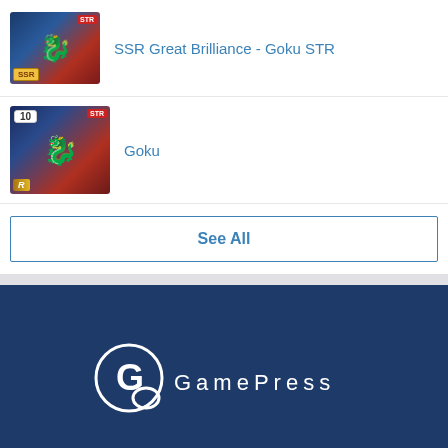SSR Great Brilliance - Goku STR
Goku
See All
[Figure (logo): GamePress logo with circular G icon and spaced text 'G a m e P r e s s' on dark blue background]
Disclaimer   Privacy Policy   Terms of Use
[Figure (screenshot): BitLife - Life Simulator advertisement banner with app icon and Install button]